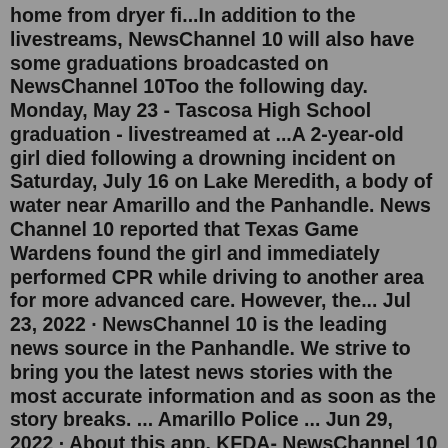home from dryer fi...In addition to the livestreams, NewsChannel 10 will also have some graduations broadcasted on NewsChannel 10Too the following day. Monday, May 23 - Tascosa High School graduation - livestreamed at ...A 2-year-old girl died following a drowning incident on Saturday, July 16 on Lake Meredith, a body of water near Amarillo and the Panhandle. News Channel 10 reported that Texas Game Wardens found the girl and immediately performed CPR while driving to another area for more advanced care. However, the... Jul 23, 2022 · NewsChannel 10 is the leading news source in the Panhandle. We strive to bring you the latest news stories with the most accurate information and as soon as the story breaks. ... Amarillo Police ... Jun 29, 2022 · About this app. KFDA- NewsChannel 10 provides the latest in Local News, Weather, and Sports for the Texas-Oklahoma Panhandle and Eastern New Mexico. Dec 06, 2021 · Kevin Selle has joined NewsChannel 10 KFDA Amarillo after leaving KFDX 3 Wichita Falls serving the western Texoma